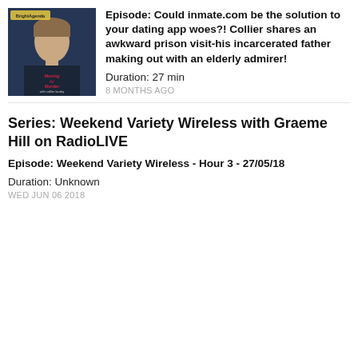[Figure (photo): Podcast thumbnail for 'Moving for Murder with Collier Landry' showing a man's portrait over a dark background with the show title text]
Episode: Could inmate.com be the solution to your dating app woes?! Collier shares an awkward prison visit-his incarcerated father making out with an elderly admirer!
Duration: 27 min
8 MONTHS AGO
Series: Weekend Variety Wireless with Graeme Hill on RadioLIVE
Episode: Weekend Variety Wireless - Hour 3 - 27/05/18
Duration: Unknown
WED JUN 06 2018